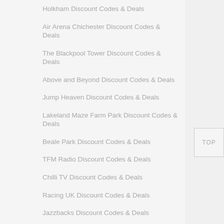Holkham Discount Codes & Deals
Air Arena Chichester Discount Codes & Deals
The Blackpool Tower Discount Codes & Deals
Above and Beyond Discount Codes & Deals
Jump Heaven Discount Codes & Deals
Lakeland Maze Farm Park Discount Codes & Deals
Beale Park Discount Codes & Deals
TFM Radio Discount Codes & Deals
Chilli TV Discount Codes & Deals
Racing UK Discount Codes & Deals
Jazzbacks Discount Codes & Deals
Party For The People Discount Codes &